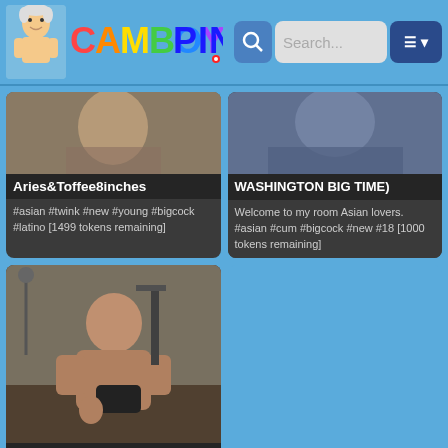CamBoyPin - Search
Aries&Toffee8inches
#asian #twink #new #young #bigcock #latino [1499 tokens remaining]
WASHINGTON BIG TIME)
Welcome to my room Asian lovers. #asian #cum #bigcock #new #18 [1000 tokens remaining]
[Figure (photo): Webcam thumbnail of performer]
Erick Brazilian slim dirty boy with big cock 24cm and nice ass I like to masturbate and play with my ass I can be very dirty for